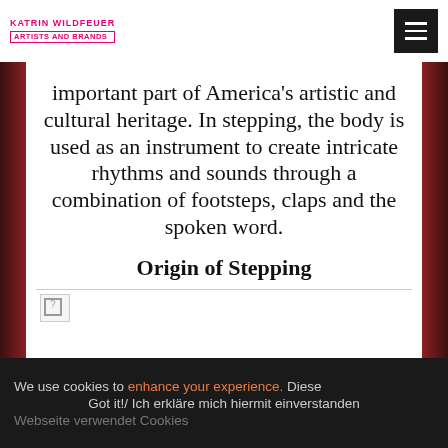KATRIN WILDFEUER ARTISTS AND BRANDS
important part of America’s artistic and cultural heritage. In stepping, the body is used as an instrument to create intricate rhythms and sounds through a combination of footsteps, claps and the spoken word.
Origin of Stepping
[Figure (illustration): Broken/missing image icon at bottom left of content area]
We use cookies to enhance your experience. Diese Webseite verwendet Cookies Got it!/ Ich erkläre mich hiermit einverstanden